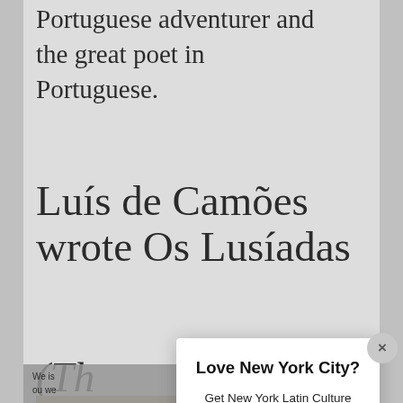Portuguese adventurer and the great poet in Portuguese.
Luís de Camões wrote Os Lusíadas (Th…
[Figure (photo): Partial view of an old book or manuscript with decorative imagery, shown at bottom left of the page]
We is our we
Love New York City?
Get New York Latin Culture Magazine in your Email weekly
YES, SIGN ME UP
NO THANKS